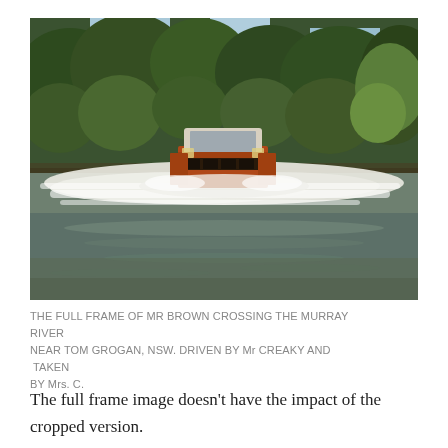[Figure (photo): A 4WD vehicle (orange/brown Land Cruiser style) crossing a wide shallow river with white water splashing around it. Dense Australian bushland with eucalyptus trees in the background. Water is murky brown-green.]
THE FULL FRAME OF MR BROWN CROSSING THE MURRAY RIVER NEAR TOM GROGAN, NSW. DRIVEN BY Mr CREAKY AND TAKEN BY Mrs. C.
The full frame image doesn't have the impact of the cropped version.